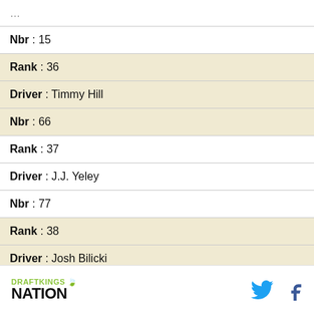| Nbr : 15 |
| Rank : 36 |
| Driver : Timmy Hill |
| Nbr : 66 |
| Rank : 37 |
| Driver : J.J. Yeley |
| Nbr : 77 |
| Rank : 38 |
| Driver : Josh Bilicki |
DRAFTKINGS NATION